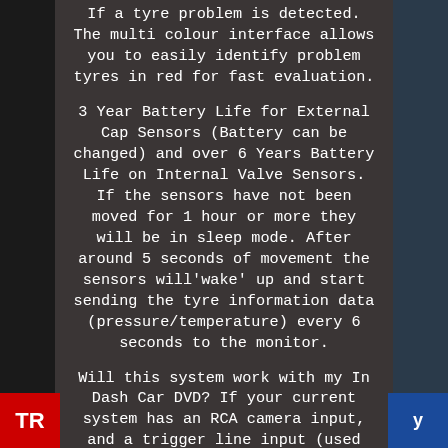If a tyre problem is detected. The multi colour interface allows you to easily identify problem tyres in red for fast evaluation.
3 Year Battery Life for External Cap Sensors (Battery can be changed) and over 6 Years Battery Life on Internal Valve Sensors. If the sensors have not been moved for 1 hour or more they will be in sleep mode. After around 5 seconds of movement the sensors will'wake' up and start sending the tyre information data (pressure/temperature) every 6 seconds to the monitor.
Will this system work with my In Dash Car DVD? If your current system has an RCA camera input, and a trigger line input (used for sending power from the